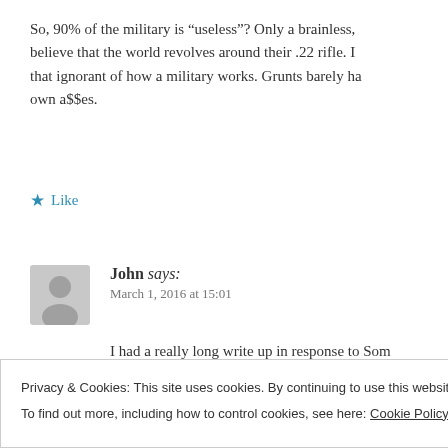So, 90% of the military is “useless”? Only a brainless, believe that the world revolves around their .22 rifle. I that ignorant of how a military works. Grunts barely ha own a$$es.
★ Like
John says: March 1, 2016 at 15:01
I had a really long write up in response to Son read it, and realized that I was angry and my c deleted it. I am still full of hate and discontent
Privacy & Cookies: This site uses cookies. By continuing to use this website, you agree to their use.
To find out more, including how to control cookies, see here: Cookie Policy
Close and accept